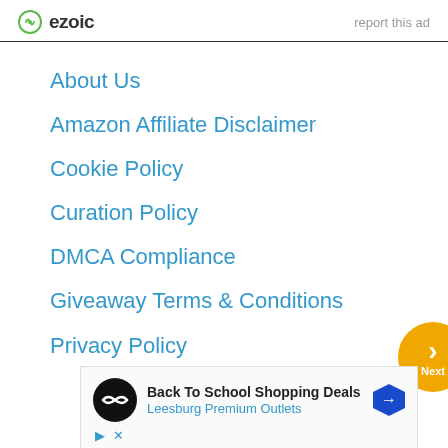[Figure (logo): Ezoic logo with green circular icon and bold 'ezoic' text, with 'report this ad' text on the right]
About Us
Amazon Affiliate Disclaimer
Cookie Policy
Curation Policy
DMCA Compliance
Giveaway Terms & Conditions
Privacy Policy
[Figure (screenshot): Advertisement for Back To School Shopping Deals at Leesburg Premium Outlets with logo and navigation arrow icon]